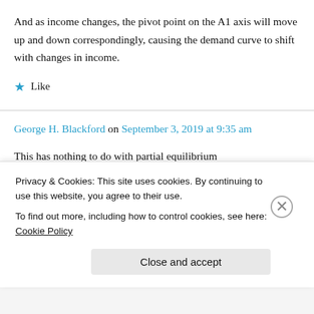And as income changes, the pivot point on the A1 axis will move up and down correspondingly, causing the demand curve to shift with changes in income.
★ Like
George H. Blackford on September 3, 2019 at 9:35 am
This has nothing to do with partial equilibrium
Privacy & Cookies: This site uses cookies. By continuing to use this website, you agree to their use.
To find out more, including how to control cookies, see here: Cookie Policy
Close and accept